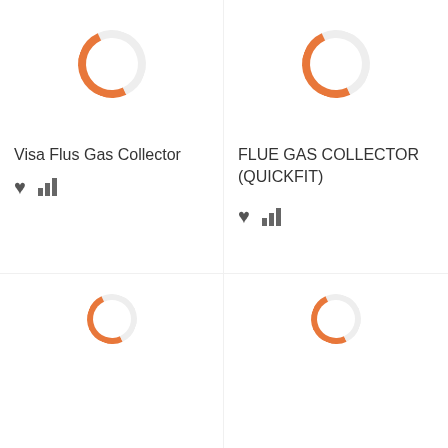[Figure (illustration): Loading spinner icon (orange) for product image placeholder - top left]
Visa Flus Gas Collector
[Figure (illustration): Heart icon and bar chart icon (favorites/compare buttons) - left product]
[Figure (illustration): Loading spinner icon (orange) for product image placeholder - top right]
FLUE GAS COLLECTOR (QUICKFIT)
[Figure (illustration): Heart icon and bar chart icon (favorites/compare buttons) - right product]
[Figure (illustration): Loading spinner icon (orange) for product image placeholder - bottom left]
[Figure (illustration): Loading spinner icon (orange) for product image placeholder - bottom right]